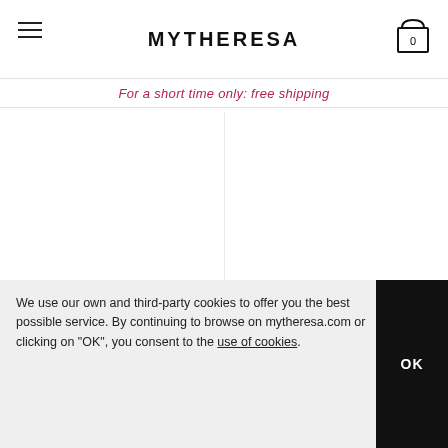MYTHERESA
For a short time only: free shipping
GUCCI
€ 441
NEW ARRIVAL
GUCCI
€ 643
NEW ARRIVAL
We use our own and third-party cookies to offer you the best possible service. By continuing to browse on mytheresa.com or clicking on "OK", you consent to the use of cookies.